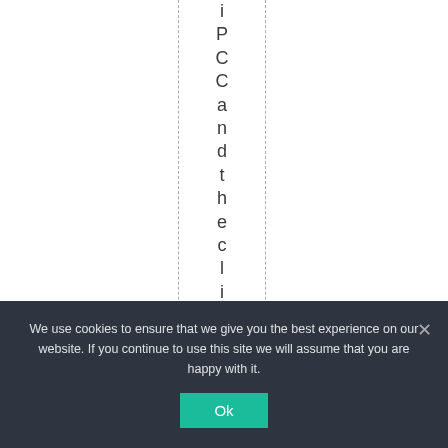iPCCandtheclimateef...
We use cookies to ensure that we give you the best experience on our website. If you continue to use this site we will assume that you are happy with it. Ok